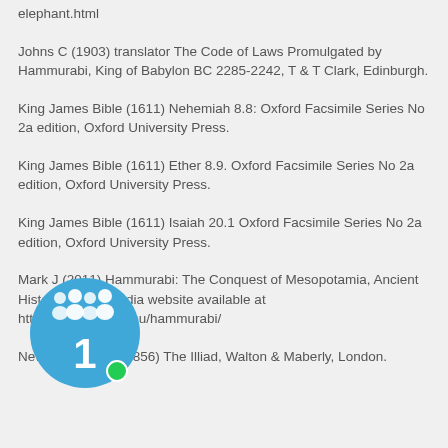elephant.html
Johns C (1903) translator The Code of Laws Promulgated by Hammurabi, King of Babylon BC 2285-2242, T & T Clark, Edinburgh.
King James Bible (1611) Nehemiah 8.8: Oxford Facsimile Series No 2a edition, Oxford University Press.
King James Bible (1611) Ether 8.9. Oxford Facsimile Series No 2a edition, Oxford University Press.
King James Bible (1611) Isaiah 20.1 Oxford Facsimile Series No 2a edition, Oxford University Press.
Mark J (2011) Hammurabi: The Conquest of Mesopotamia, Ancient History Encyclopedia website available at http://www.ancient.eu/hammurabi/
Newman F trans (1856) The Illiad, Walton & Maberly, London.